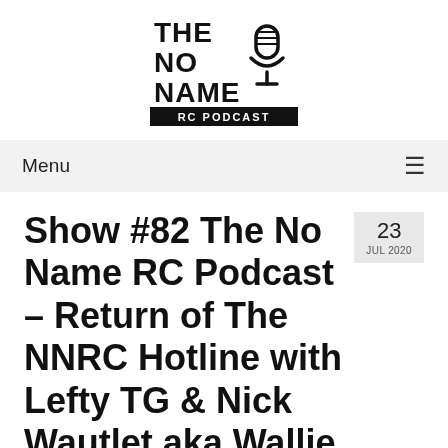[Figure (logo): The No Name RC Podcast logo — bold stacked text 'THE NO NAME' with a microphone icon, and 'RC PODCAST' in a black banner below]
Menu ≡
Show #82 The No Name RC Podcast – Return of The NNRC Hotline with Lefty TG & Nick Wautlet aka Wallie
23 JUL 2020